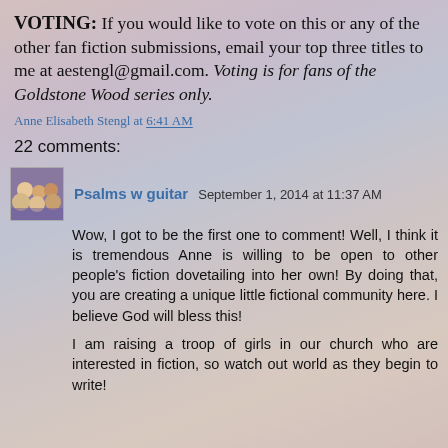VOTING: If you would like to vote on this or any of the other fan fiction submissions, email your top three titles to me at aestengl@gmail.com. Voting is for fans of the Goldstone Wood series only.
Anne Elisabeth Stengl at 6:41 AM
22 comments:
Psalms w guitar September 1, 2014 at 11:37 AM
Wow, I got to be the first one to comment! Well, I think it is tremendous Anne is willing to be open to other people's fiction dovetailing into her own! By doing that, you are creating a unique little fictional community here. I believe God will bless this!
I am raising a troop of girls in our church who are interested in fiction, so watch out world as they begin to write!